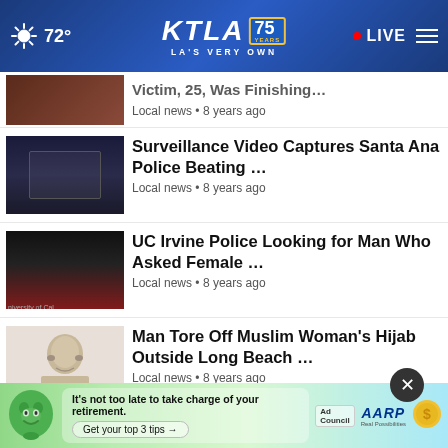72° KTLA 75 YEARS LA'S VERY OWN • LIVE
Victim, 25, Was Finishing... Local news • 8 years ago
Surveillance Video Captures Santa Ana Police Beating ... Local news • 8 years ago
UC Irvine Police Looking for Man Who Asked Female ... Local news • 8 years ago
Man Tore Off Muslim Woman's Hijab Outside Long Beach ... Local news • 8 years ago
Moreno Valley SWAT Team Searching Area for 'Suspects' ... Local news • 8 years ago
New State Law Designed to Address Concussions Will ...
Light Plane Crashes Near Rancho ...
It's not too late to take charge of your retirement. Get your top 3 tips → Ad Council AARP